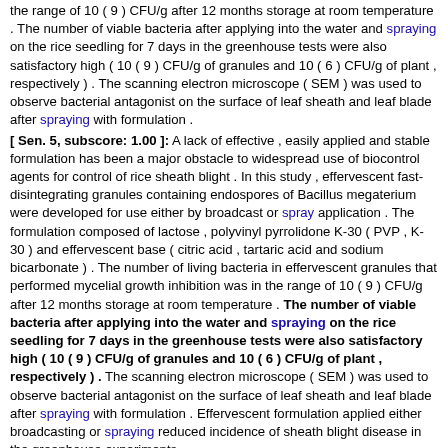the range of 10 ( 9 ) CFU/g after 12 months storage at room temperature . The number of viable bacteria after applying into the water and spraying on the rice seedling for 7 days in the greenhouse tests were also satisfactory high ( 10 ( 9 ) CFU/g of granules and 10 ( 6 ) CFU/g of plant , respectively ) . The scanning electron microscope ( SEM ) was used to observe bacterial antagonist on the surface of leaf sheath and leaf blade after spraying with formulation .
[ Sen. 5, subscore: 1.00 ]: A lack of effective , easily applied and stable formulation has been a major obstacle to widespread use of biocontrol agents for control of rice sheath blight . In this study , effervescent fast-disintegrating granules containing endospores of Bacillus megaterium were developed for use either by broadcast or spray application . The formulation composed of lactose , polyvinyl pyrrolidone K-30 ( PVP , K-30 ) and effervescent base ( citric acid , tartaric acid and sodium bicarbonate ) . The number of living bacteria in effervescent granules that performed mycelial growth inhibition was in the range of 10 ( 9 ) CFU/g after 12 months storage at room temperature . The number of viable bacteria after applying into the water and spraying on the rice seedling for 7 days in the greenhouse tests were also satisfactory high ( 10 ( 9 ) CFU/g of granules and 10 ( 6 ) CFU/g of plant , respectively ) . The scanning electron microscope ( SEM ) was used to observe bacterial antagonist on the surface of leaf sheath and leaf blade after spraying with formulation . Effervescent formulation applied either broadcasting or spraying reduced incidence of sheath blight disease in the greenhouse experiments .
[ Sen. 6, subscore: 1.00 ]: In this study , effervescent fast-disintegrating granules containing endospores of Bacillus megaterium were developed for use either by broadcast or spray application . The formulation composed of lactose , polyvinyl pyrrolidone K-30 ( PVP , K-30 ) and effervescent base ( citric acid , tartaric acid and sodium bicarbonate ) . The number of living bacteria in effervescent granules that performed